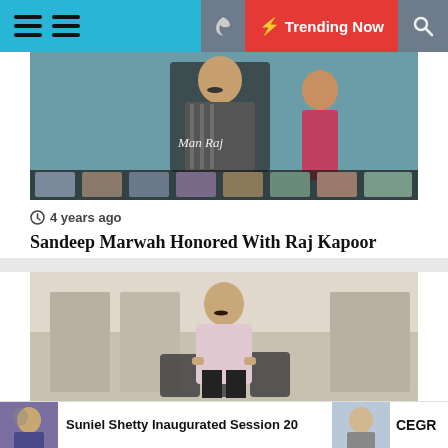≡ ≡  🌙  ⚡ Trending Now  🔍
[Figure (photo): Photo of Sandeep Marwah at an award event with text 'Man Raj' visible, group photo strip below]
🕐 4 years ago
Sandeep Marwah Honored With Raj Kapoor Award
[Figure (photo): Photo of a man in light pink shirt standing in what appears to be a mall or exhibition space]
Suniel Shetty Inaugurated Session 20
CEGR